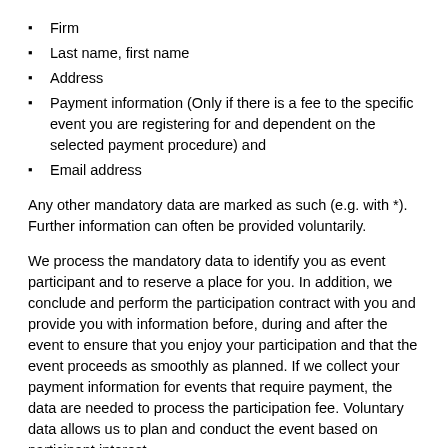Firm
Last name, first name
Address
Payment information (Only if there is a fee to the specific event you are registering for and dependent on the selected payment procedure) and
Email address
Any other mandatory data are marked as such (e.g. with *). Further information can often be provided voluntarily.
We process the mandatory data to identify you as event participant and to reserve a place for you. In addition, we conclude and perform the participation contract with you and provide you with information before, during and after the event to ensure that you enjoy your participation and that the event proceeds as smoothly as planned. If we collect your payment information for events that require payment, the data are needed to process the participation fee. Voluntary data allows us to plan and conduct the event based on participant interest.
You can usually provide other personal information on a voluntarily basis (for example, for student events, the university-program you are completing). We use this data to optimally prepare the event